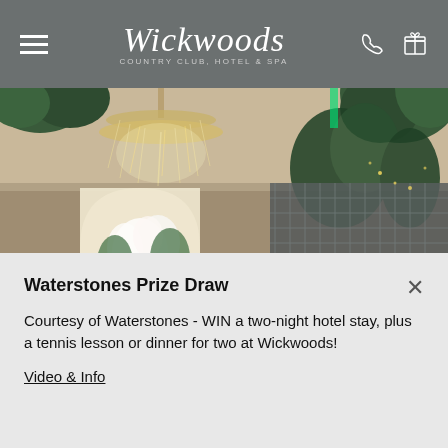Wickwoods Country Club Hotel & Spa
[Figure (photo): Interior of Wickwoods restaurant/bar area with chandelier, tropical plants, and guests dining]
Waterstones Prize Draw
Courtesy of Waterstones - WIN a two-night hotel stay, plus a tennis lesson or dinner for two at Wickwoods!
Video & Info